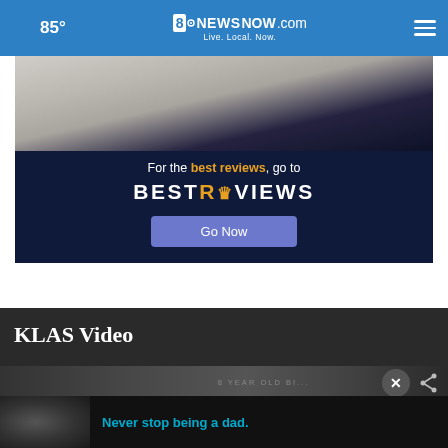85° | 8NewsNow.com | Live. Local. Now.
[Figure (screenshot): Advertisement banner for BestReviews showing a person at top and dark navy panel with text 'For the best reviews, go to BESTREVIEWS' and a 'Go Now' button]
KLAS Video
[Figure (screenshot): Video player area with dark background showing partial video content and overlay ads. Bottom ad reads 'Never stop being a dad.']